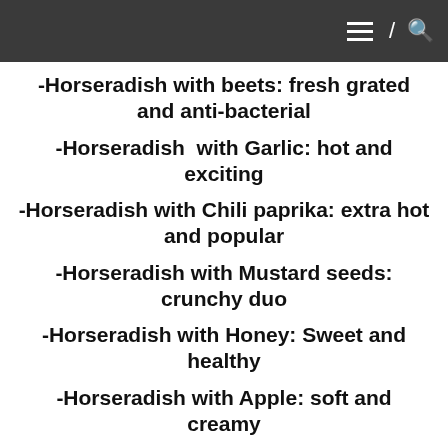≡ / 🔍
-Horseradish with beets: fresh grated and anti-bacterial
-Horseradish with Garlic: hot and exciting
-Horseradish with Chili paprika: extra hot and popular
-Horseradish with Mustard seeds: crunchy duo
-Horseradish with Honey: Sweet and healthy
-Horseradish with Apple: soft and creamy
All flavours can be ordered in sugar-free variation as well.